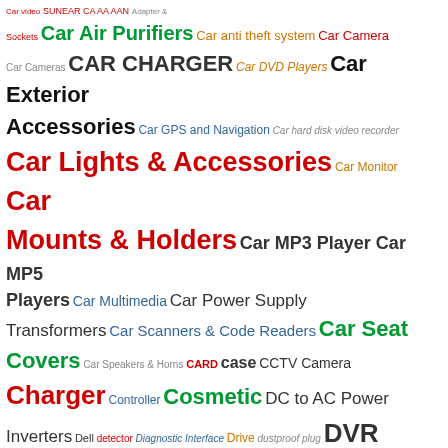[Figure (infographic): Tag cloud of product categories in various colors and font sizes. Categories include Car Air Purifiers, Car anti theft system, Car Camera, Car Cameras, CAR CHARGER, Car DVD Players, Car Exterior Accessories, Car GPS and Navigation, Car hard disk video recorder, Car Lights & Accessories, Car Monitor, Car Mounts & Holders, Car MP3 Player, Car MP5 Players, Car Multimedia, Car Power Supply Transformers, Car Scanners & Code Readers, Car Seat Covers, Car Speakers & Horns, CARD, case, CCTV Camera, Charger, Controller, Cosmetic, DC to AC Power Inverters, Dell, detector, Diagnostic Interface, Drive, dustproof plug, DVR, Flash Drive, Games glasses camera, Guitar Tuner, Headphone, headset, Keyboard, LCD SCREEN, Led Light, LED Lighting, Microsoft, Mini Speaker, monitor, Motorcycle Accessories & Parts, Motorcycle Helmets, Motorola, Multimeter, Ni-Cd battery, ORICO interface, Other Auto Replacement Parts, Other Car Electronics, Other Car Interior Accessories, Other Car Maintenance & Care Products, Philips, phone power, POWER BANK for]